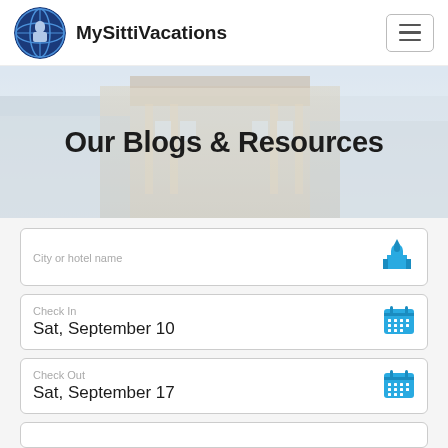[Figure (logo): MySittiVacations globe logo icon in circular frame]
MySittiVacations
[Figure (other): Hamburger menu button with three horizontal lines]
[Figure (photo): Background photo of an Italian-style building/architecture, muted blue-gray tones]
Our Blogs & Resources
City or hotel name
Check In
Sat, September 10
Check Out
Sat, September 17